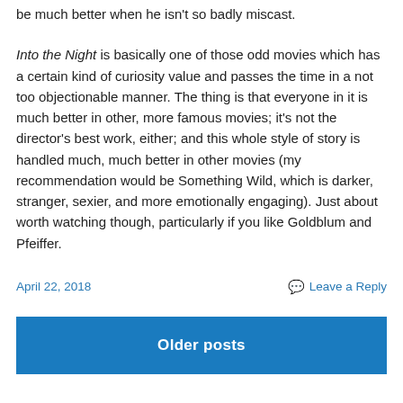be much better when he isn't so badly miscast.
Into the Night is basically one of those odd movies which has a certain kind of curiosity value and passes the time in a not too objectionable manner. The thing is that everyone in it is much better in other, more famous movies; it's not the director's best work, either; and this whole style of story is handled much, much better in other movies (my recommendation would be Something Wild, which is darker, stranger, sexier, and more emotionally engaging). Just about worth watching though, particularly if you like Goldblum and Pfeiffer.
April 22, 2018
Leave a Reply
Older posts